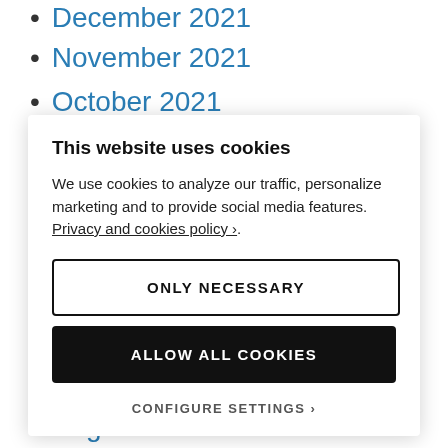December 2021
November 2021
October 2021
September 2021
This website uses cookies
We use cookies to analyze our traffic, personalize marketing and to provide social media features. Privacy and cookies policy ›.
ONLY NECESSARY
ALLOW ALL COOKIES
CONFIGURE SETTINGS ›
September 2020
August 2020